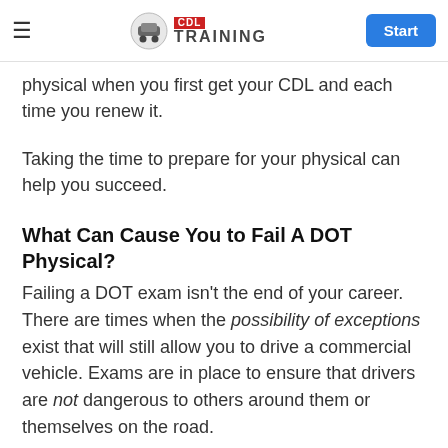CDL Training — navigation header with Start button
physical when you first get your CDL and each time you renew it.
Taking the time to prepare for your physical can help you succeed.
What Can Cause You to Fail A DOT Physical?
Failing a DOT exam isn't the end of your career. There are times when the possibility of exceptions exist that will still allow you to drive a commercial vehicle. Exams are in place to ensure that drivers are not dangerous to others around them or themselves on the road.